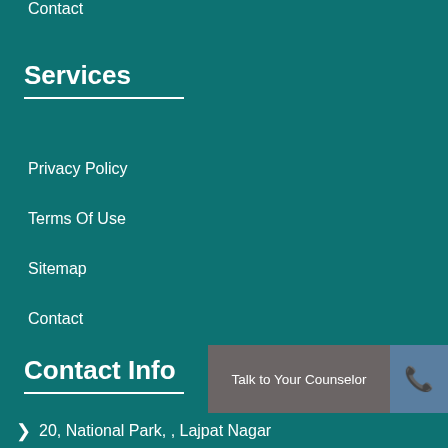Contact
Services
Privacy Policy
Terms Of Use
Sitemap
Contact
Contact Info
[Figure (other): Talk to Your Counselor button with phone icon]
20, National Park, , Lajpat Nagar